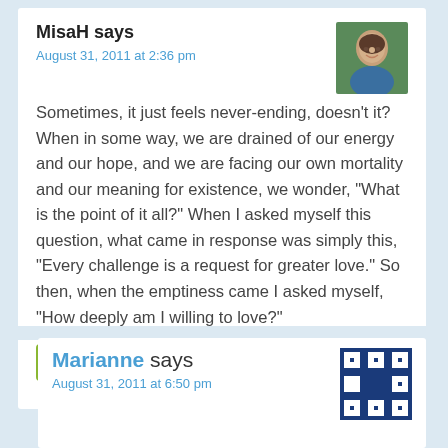MisaH says
August 31, 2011 at 2:36 pm
[Figure (photo): Avatar photo of MisaH, a woman smiling, with trees/foliage in background, wearing blue top and earrings.]
Sometimes, it just feels never-ending, doesn't it? When in some way, we are drained of our energy and our hope, and we are facing our own mortality and our meaning for existence, we wonder, "What is the point of it all?" When I asked myself this question, what came in response was simply this, "Every challenge is a request for greater love." So then, when the emptiness came I asked myself, "How deeply am I willing to love?"
Reply
Marianne says
August 31, 2011 at 6:50 pm
[Figure (photo): Avatar image for Marianne, showing a blue and white geometric/quilt-style pattern on a dark blue background.]